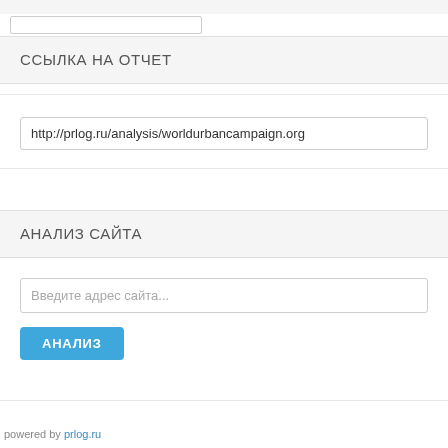ССЫЛКА НА ОТЧЕТ
http://prlog.ru/analysis/worldurbancampaign.org
АНАЛИЗ САЙТА
Введите адрес сайта...
АНАЛИЗ
powered by prlog.ru